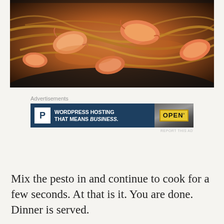[Figure (photo): Close-up photo of shrimp and noodles in a dark cast-iron pan, with spaghetti and large cooked shrimp in a glossy sauce]
Advertisements
[Figure (other): WordPress hosting advertisement banner: blue background with white P logo icon, text 'WORDPRESS HOSTING THAT MEANS BUSINESS.' and an 'OPEN' sign image on the right]
REPORT THIS AD
Mix the pesto in and continue to cook for a few seconds. At that is it. You are done. Dinner is served.